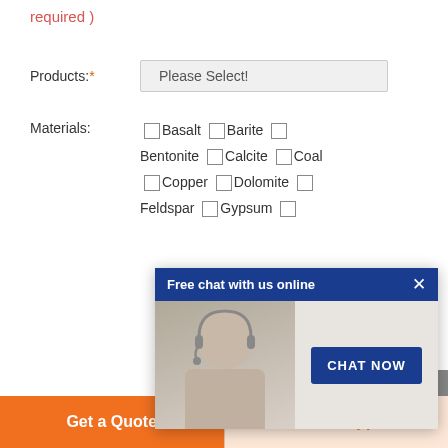required )
Products:* Please Select!
Materials: Basalt Barite Bentonite Calcite Coal Copper Dolomite Feldspar Gypsum
[Figure (screenshot): Free chat with us online popup overlay with a customer service representative photo and a CHAT NOW button]
Capacity: > 100 TPH > 50 TPH > 30 TPH > 10 TPH > 1 TPH < 1 TPH
Name:* Such as: John
Get a Quote | WhatsApp